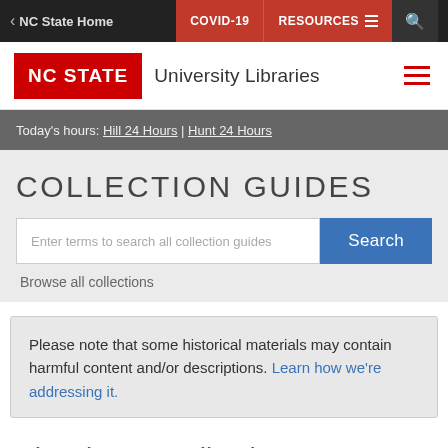< NC State Home | COVID-19 | RESOURCES
[Figure (logo): NC STATE University Libraries logo with red background and hamburger menu icon]
Today's hours: Hill 24 Hours | Hunt 24 Hours
COLLECTION GUIDES
Enter terms to search all collection guides [Search button]
Browse all collections
Please note that some historical materials may contain harmful content and/or descriptions. Learn how we're addressing it.
Showing 66 collections